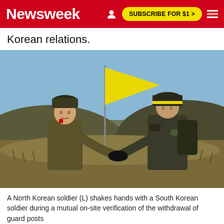Newsweek | SUBSCRIBE FOR $1 >
Korean relations.
[Figure (photo): A North Korean soldier in olive uniform and fur hat shakes hands with a South Korean soldier in camouflage uniform and helmet with yellow band, standing in front of a yellow flag against a hillside background.]
A North Korean soldier (L) shakes hands with a South Korean soldier during a mutual on-site verification of the withdrawal of guard posts